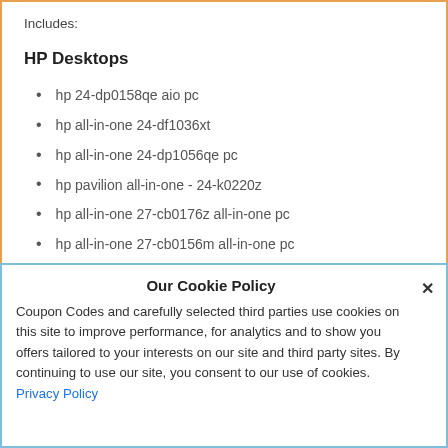Includes:
HP Desktops
hp 24-dp0158qe aio pc
hp all-in-one 24-df1036xt
hp all-in-one 24-dp1056qe pc
hp pavilion all-in-one - 24-k0220z
hp all-in-one 27-cb0176z all-in-one pc
hp all-in-one 27-cb0156m all-in-one pc
Visit HP Desktops
Our Cookie Policy
Coupon Codes and carefully selected third parties use cookies on this site to improve performance, for analytics and to show you offers tailored to your interests on our site and third party sites. By continuing to use our site, you consent to our use of cookies. Privacy Policy